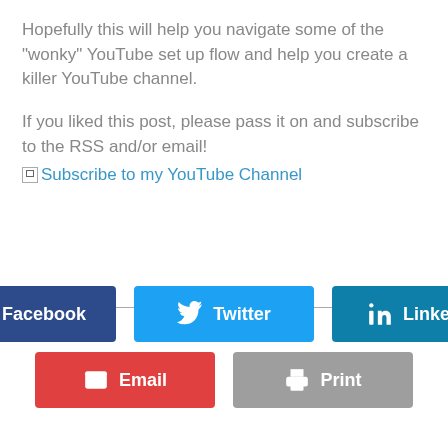Hopefully this will help you navigate some of the "wonky" YouTube set up flow and help you create a killer YouTube channel.
If you liked this post, please pass it on and subscribe to the RSS and/or email!
Subscribe to my YouTube Channel
[Figure (other): Social share buttons: Facebook, Twitter, LinkedIn (top row), Email, Print (bottom row, partially visible)]